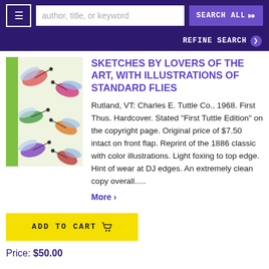≡  author, title, or keyword  SEARCH ALL ▾
REFINE SEARCH ❯
[Figure (photo): Photo of a book with green spine and cover showing illustrations of fishing flies on a light background, placed against a red background.]
SKETCHES BY LOVERS OF THE ART, WITH ILLUSTRATIONS OF STANDARD FLIES
Rutland, VT: Charles E. Tuttle Co., 1968. First Thus. Hardcover. Stated "First Tuttle Edition" on the copyright page. Original price of $7.50 intact on front flap. Reprint of the 1886 classic with color illustrations. Light foxing to top edge. Hint of wear at DJ edges. An extremely clean copy overall.....
More ›
ADD TO CART 🛒
Price: $50.00